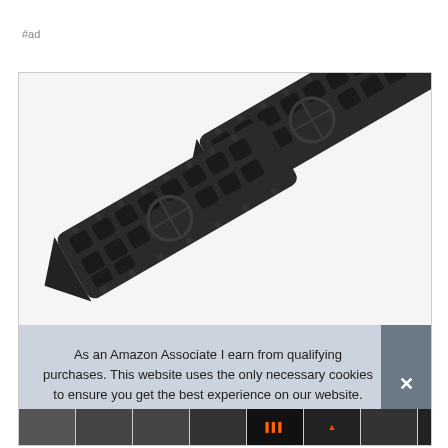#ad
[Figure (photo): Two black plastic vehicle recovery traction boards with hexagonal grip pattern and spikes, crossed over each other on a white background]
As an Amazon Associate I earn from qualifying purchases. This website uses the only necessary cookies to ensure you get the best experience on our website. More information
[Figure (photo): Thumbnail strip of product images at the bottom of the card]